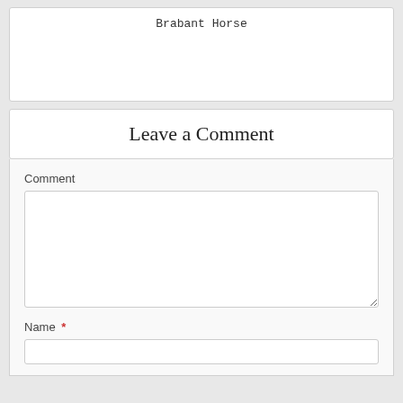Brabant Horse
Leave a Comment
Comment
Name *